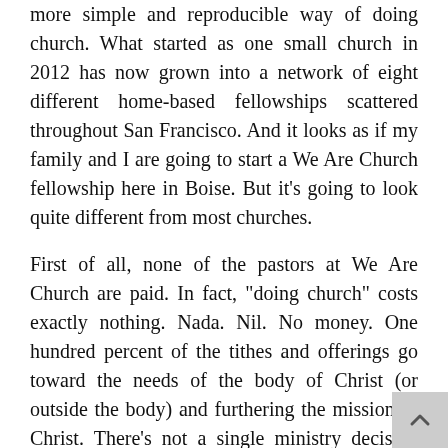more simple and reproducible way of doing church. What started as one small church in 2012 has now grown into a network of eight different home-based fellowships scattered throughout San Francisco. And it looks as if my family and I are going to start a We Are Church fellowship here in Boise. But it’s going to look quite different from most churches.
First of all, none of the pastors at We Are Church are paid. In fact, “doing church” costs exactly nothing. Nada. Nil. No money. One hundred percent of the tithes and offerings go toward the needs of the body of Christ (or outside the body) and furthering the mission of Christ. There’s not a single ministry decision that’s based on money. There’s no pressure to grow in order to support staff salaries and building mortgages. As long as